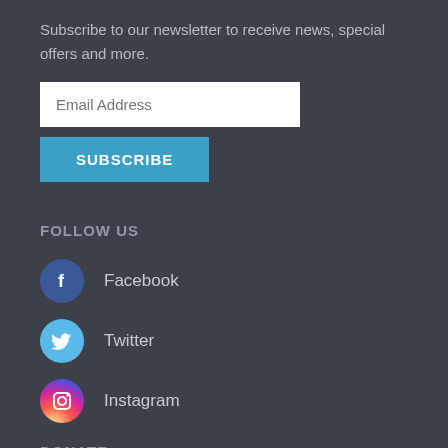Subscribe to our newsletter to receive news, special offers and more.
[Figure (screenshot): Email Address input field (white text box) followed by a SUBSCRIBE button in teal/blue color]
FOLLOW US
Facebook
Twitter
Instagram
DONATE
[Figure (logo): Brown donate button/image with a white wavy line icon]